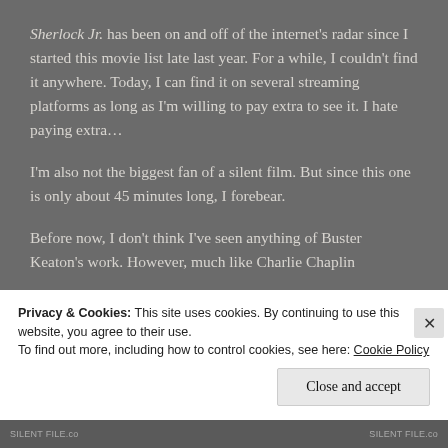Sherlock Jr. has been on and off of the internet's radar since I started this movie list late last year. For a while, I couldn't find it anywhere. Today, I can find it on several streaming platforms as long as I'm willing to pay extra to see it. I hate paying extra…
I'm also not the biggest fan of a silent film. But since this one is only about 45 minutes long, I forebear.
Before now, I don't think I've seen anything of Buster Keaton's work. However, much like Charlie Chaplin
Privacy & Cookies: This site uses cookies. By continuing to use this website, you agree to their use.
To find out more, including how to control cookies, see here: Cookie Policy
Close and accept